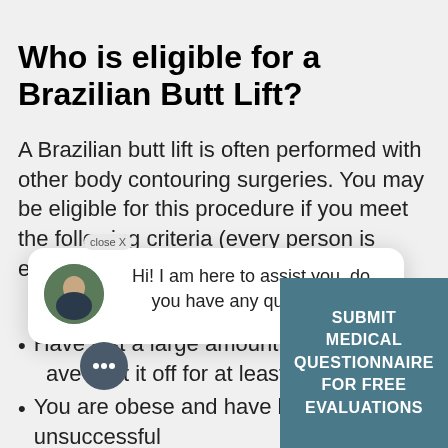Who is eligible for a Brazilian Butt Lift?
A Brazilian butt lift is often performed with other body contouring surgeries. You may be eligible for this procedure if you meet the following criteria (every person is evaluated on a case by case basis):
Hi! I am here to assist you, do you have any questions?
close X
…) is between 20-
Have lost a large amount of w[eight and h]ave kept it off for at least 6-1[2 months]
You are obese and have been unsuccessful